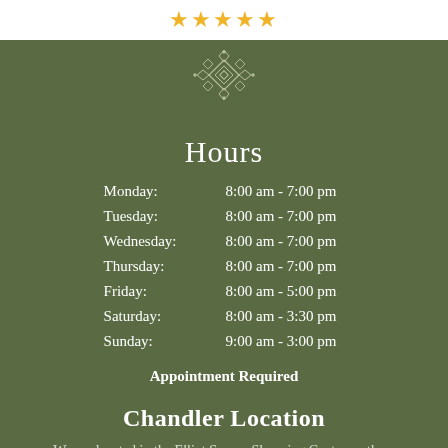[Figure (illustration): Five gold star rating icons]
[Figure (illustration): Decorative geometric ornament in white outline on green background]
Hours
| Day | Hours |
| --- | --- |
| Monday: | 8:00 am - 7:00 pm |
| Tuesday: | 8:00 am - 7:00 pm |
| Wednesday: | 8:00 am - 7:00 pm |
| Thursday: | 8:00 am - 7:00 pm |
| Friday: | 8:00 am - 5:00 pm |
| Saturday: | 8:00 am - 3:30 pm |
| Sunday: | 9:00 am - 3:00 pm |
Appointment Required
Chandler Location
We are located in the Elliot Square Shopping Center on the...